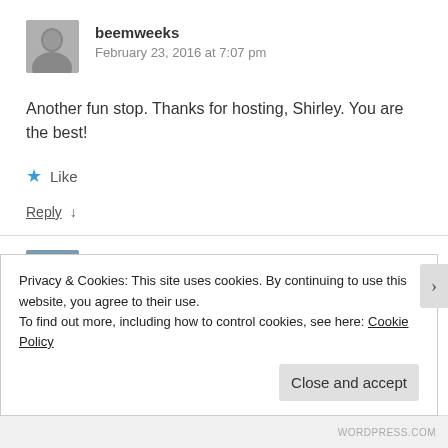[Figure (photo): Grayscale avatar photo of commenter beemweeks]
beemweeks
February 23, 2016 at 7:07 pm
Another fun stop. Thanks for hosting, Shirley. You are the best!
★ Like
Reply ↓
[Figure (photo): Avatar photo of commenter reviewsbynonnie]
reviewsbynonnie
Privacy & Cookies: This site uses cookies. By continuing to use this website, you agree to their use.
To find out more, including how to control cookies, see here: Cookie Policy
Close and accept